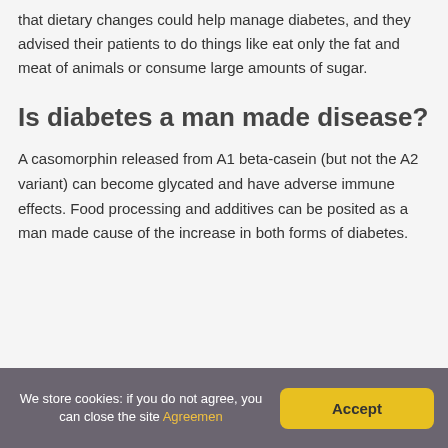that dietary changes could help manage diabetes, and they advised their patients to do things like eat only the fat and meat of animals or consume large amounts of sugar.
Is diabetes a man made disease?
A casomorphin released from A1 beta-casein (but not the A2 variant) can become glycated and have adverse immune effects. Food processing and additives can be posited as a man made cause of the increase in both forms of diabetes.
We store cookies: if you do not agree, you can close the site Agreemen